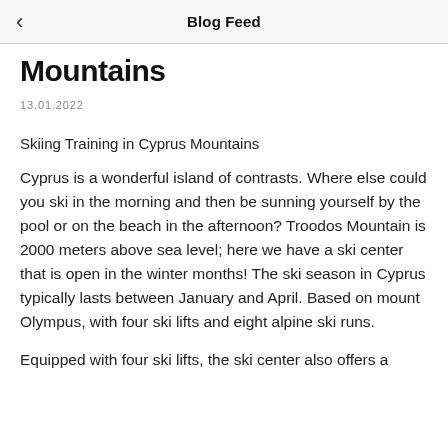Blog Feed
Mountains
13.01.2022
Skiing Training in Cyprus Mountains
Cyprus is a wonderful island of contrasts. Where else could you ski in the morning and then be sunning yourself by the pool or on the beach in the afternoon? Troodos Mountain is 2000 meters above sea level; here we have a ski center that is open in the winter months! The ski season in Cyprus typically lasts between January and April. Based on mount Olympus, with four ski lifts and eight alpine ski runs.
Equipped with four ski lifts, the ski center also offers a